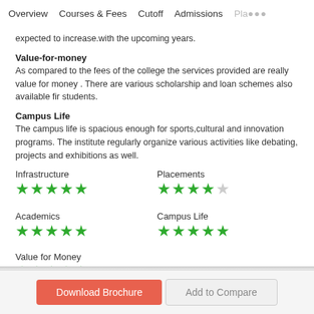Overview   Courses & Fees   Cutoff   Admissions   Pla···
expected to increase.with the upcoming years.
Value-for-money
As compared to the fees of the college the services provided are really value for money . There are various scholarship and loan schemes also available fir students.
Campus Life
The campus life is spacious enough for sports,cultural and innovation programs. The institute regularly organize various activities like debating, projects and exhibitions as well.
[Figure (infographic): Star ratings for Infrastructure (5/5 stars), Placements (4/5 stars), Academics (5/5 stars), Campus Life (5/5 stars), Value for Money (5/5 stars) shown as green filled stars]
Download Brochure   Add to Compare